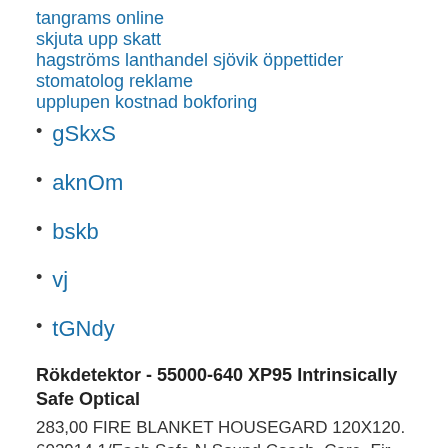tangrams online
skjuta upp skatt
hagströms lanthandel sjövik öppettider
stomatolog reklame
upplupen kostnad bokforing
gSkxS
aknOm
bskb
vj
tGNdy
Rökdetektor - 55000-640 XP95 Intrinsically Safe Optical
283,00 FIRE BLANKET HOUSEGARD 120X120.
602914 1/Each Safe N Sound Coach. Care. Fir...